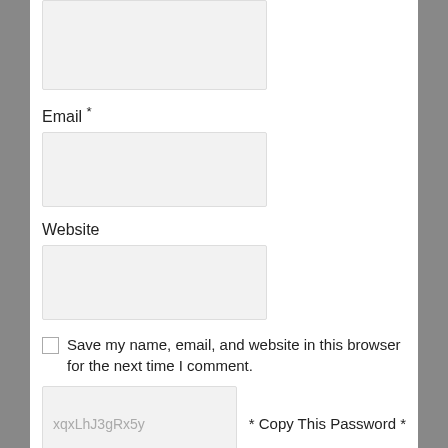[Figure (screenshot): Form input box (cropped top, no label visible) — text input field with light gray background]
Email *
[Figure (screenshot): Email input field — empty text input with light gray background]
Website
[Figure (screenshot): Website input field — empty text input with light gray background]
Save my name, email, and website in this browser for the next time I comment.
[Figure (screenshot): CAPTCHA/password input field showing placeholder text 'xqxLhJ3gRx5y' with label '* Copy This Password *']
[Figure (screenshot): Bottom input field, partially cropped]